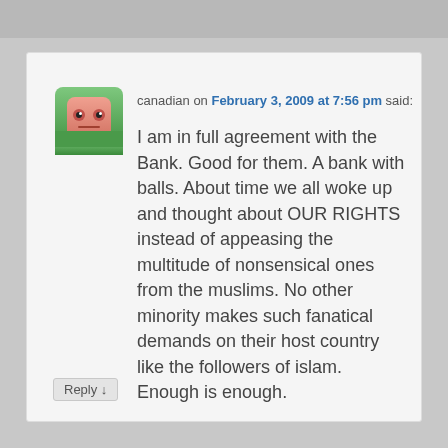canadian on February 3, 2009 at 7:56 pm said:
I am in full agreement with the Bank. Good for them. A bank with balls. About time we all woke up and thought about OUR RIGHTS instead of appeasing the multitude of nonsensical ones from the muslims. No other minority makes such fanatical demands on their host country like the followers of islam. Enough is enough.
Reply ↓